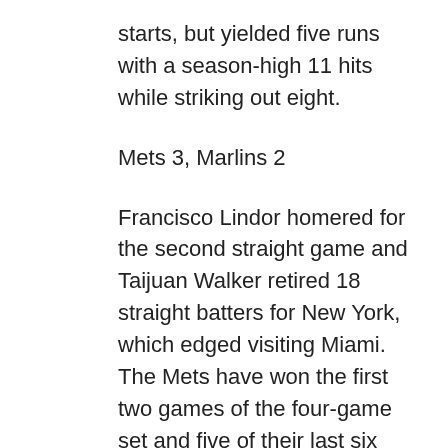starts, but yielded five runs with a season-high 11 hits while striking out eight.
Mets 3, Marlins 2
Francisco Lindor homered for the second straight game and Taijuan Walker retired 18 straight batters for New York, which edged visiting Miami.
The Mets have won the first two games of the four-game set and five of their last six overall. The Marlins have lost three straight and five of six.
Lindor's homer and Jeff McNeil's